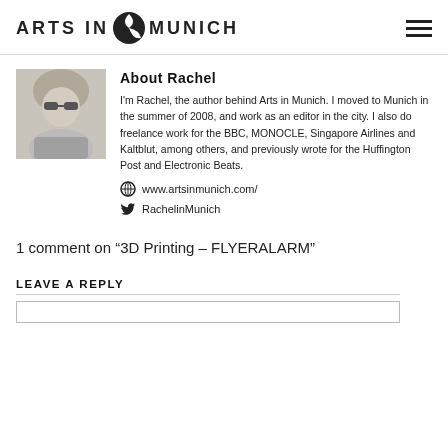ARTS IN MUNICH
[Figure (photo): Black and white photo of Rachel, a woman with light hair and sunglasses]
About Rachel
I'm Rachel, the author behind Arts in Munich. I moved to Munich in the summer of 2008, and work as an editor in the city. I also do freelance work for the BBC, MONOCLE, Singapore Airlines and Kaltblut, among others, and previously wrote for the Huffington Post and Electronic Beats.
www.artsinmunich.com/
RachelinMunich
1 comment on “3D Printing – FLYERALARM”
LEAVE A REPLY